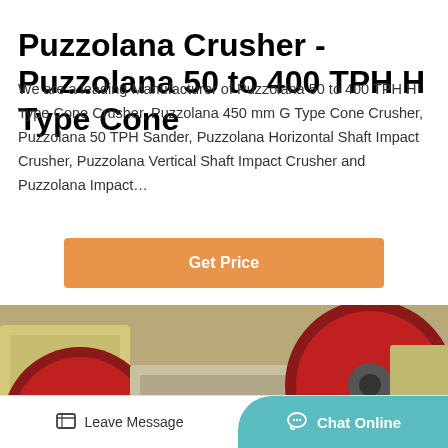Puzzolana Crusher - Puzzolana 50 to 400 TPH H Type Cone
We are a leading Manufacturer of Puzzolana 50 to 400 TPH H Type Cone Crusher, Puzzolana 450 mm G Type Cone Crusher, Puzzolana 50 TPH Sander, Puzzolana Horizontal Shaft Impact Crusher, Puzzolana Vertical Shaft Impact Crusher and Puzzolana Impact…
[Figure (other): Orange 'Get Price' button]
[Figure (photo): Industrial jaw crusher machine with red flywheel pulleys and yellow frame visible up close]
Leave Message   Chat Online